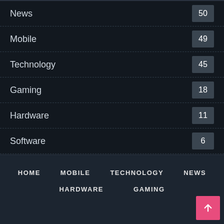News 50
Mobile 49
Technology 45
Gaming 18
Hardware 11
Software 6
HOME  MOBILE  TECHNOLOGY  NEWS  HARDWARE  GAMING